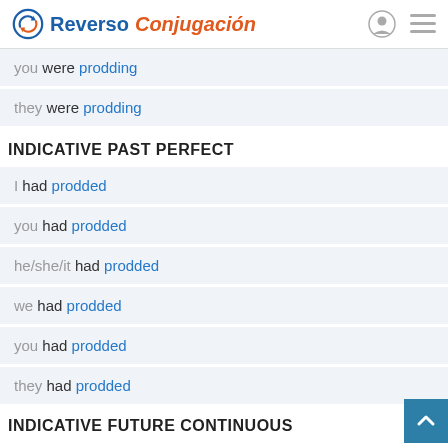Reverso Conjugación
you were prodding
they were prodding
INDICATIVE PAST PERFECT
I had prodded
you had prodded
he/she/it had prodded
we had prodded
you had prodded
they had prodded
INDICATIVE FUTURE CONTINUOUS